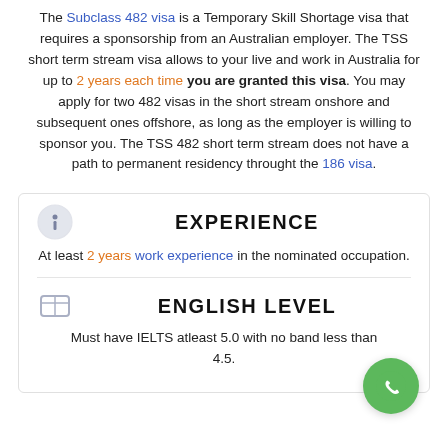The Subclass 482 visa is a Temporary Skill Shortage visa that requires a sponsorship from an Australian employer. The TSS short term stream visa allows to your live and work in Australia for up to 2 years each time you are granted this visa. You may apply for two 482 visas in the short stream onshore and subsequent ones offshore, as long as the employer is willing to sponsor you. The TSS 482 short term stream does not have a path to permanent residency throught the 186 visa.
EXPERIENCE
At least 2 years work experience in the nominated occupation.
ENGLISH LEVEL
Must have IELTS atleast 5.0 with no band less than 4.5.